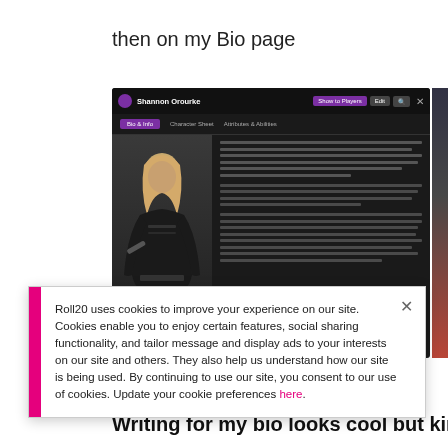then on my Bio page
[Figure (screenshot): Screenshot of Roll20 character bio page for Shannon Orourke, showing a dark-themed interface with a character portrait of a female figure in black tactical gear, bio text, and navigation tabs including Bio & Info, Character Sheet, Attributes & Abilities. Buttons Show to Players, Edit, and search icon in top right. A cookie consent banner overlays the bottom portion of the screenshot.]
Roll20 uses cookies to improve your experience on our site. Cookies enable you to enjoy certain features, social sharing functionality, and tailor message and display ads to your interests on our site and others. They also help us understand how our site is being used. By continuing to use our site, you consent to our use of cookies. Update your cookie preferences here.
Writing for my bio looks cool but kinda hard to r